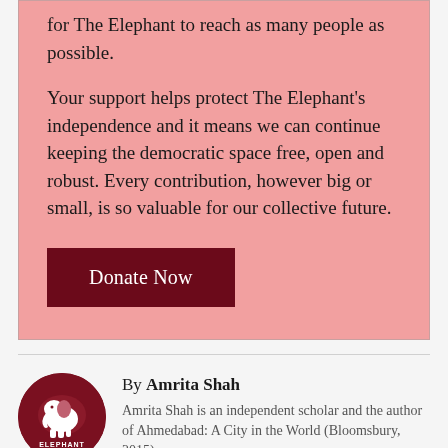for The Elephant to reach as many people as possible.
Your support helps protect The Elephant's independence and it means we can continue keeping the democratic space free, open and robust. Every contribution, however big or small, is so valuable for our collective future.
Donate Now
By Amrita Shah
Amrita Shah is an independent scholar and the author of Ahmedabad: A City in the World (Bloomsbury, 2015)